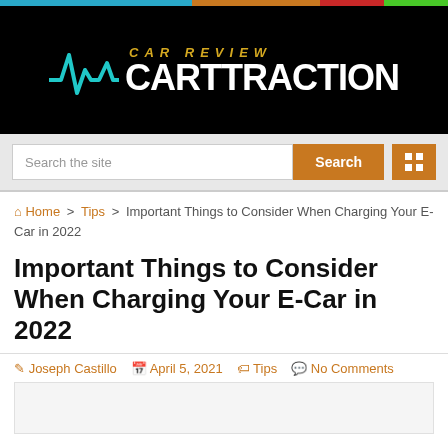[Figure (logo): Car Review Carttraction logo with teal heartbeat/waveform icon on black background]
Search the site
Important Things to Consider When Charging Your E-Car in 2022
Home > Tips > Important Things to Consider When Charging Your E-Car in 2022
Joseph Castillo  April 5, 2021  Tips  No Comments
[Figure (photo): Article featured image placeholder (light gray box)]